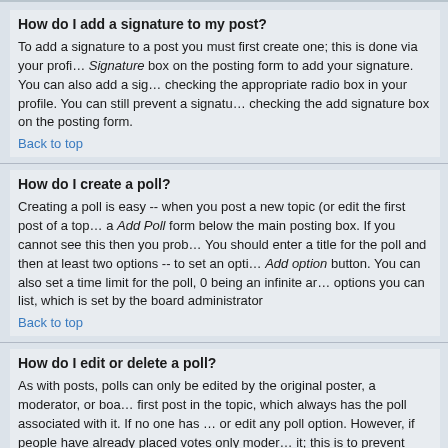How do I add a signature to my post?
To add a signature to a post you must first create one; this is done via your profile. Once created, you can check the Signature box on the posting form to add your signature. You can also add a signature by default to all your posts by checking the appropriate radio box in your profile. You can still prevent a signature being added to individual posts by un-checking the add signature box on the posting form.
Back to top
How do I create a poll?
Creating a poll is easy -- when you post a new topic (or edit the first post of a topic) you should see a Add Poll form below the main posting box. If you cannot see this then you probably do not have rights to create polls. You should enter a title for the poll and then at least two options -- to set an option type in the poll question and click the Add option button. You can also set a time limit for the poll, 0 being an infinite amount. There will be a limit to the number of options you can list, which is set by the board administrator
Back to top
How do I edit or delete a poll?
As with posts, polls can only be edited by the original poster, a moderator, or board administrator. To edit a poll, click the first post in the topic, which always has the poll associated with it. If no one has cast a vote then users can delete the poll or edit any poll option. However, if people have already placed votes only moderators or administrators can edit or delete it; this is to prevent people rigging polls by changing options mid-way through a poll
Back to top
Why can't I access a forum?
Some forums may be limited to certain users or groups. To view, read, post, etc. you may need special authorisation which only the forum moderator and board administrator can grant, so you should contact them.
Back to top